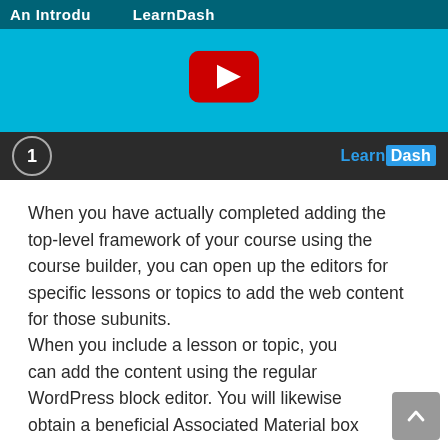[Figure (screenshot): YouTube-style video thumbnail showing a LearnDash introduction video with a red play button on a blue background, a step number circle '1' and 'LearnDash' branding in the bottom bar.]
When you have actually completed adding the top-level framework of your course using the course builder, you can open up the editors for specific lessons or topics to add the web content for those subunits.
When you include a lesson or topic, you can add the content using the regular WordPress block editor. You will likewise obtain a beneficial Associated Material box